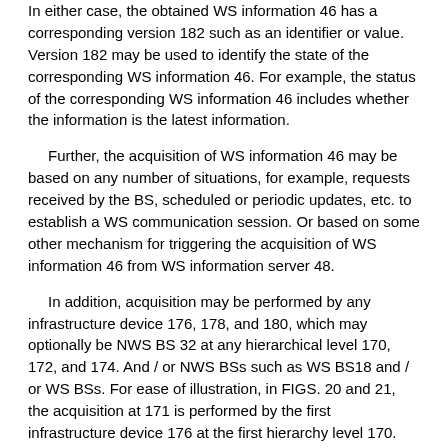In either case, the obtained WS information 46 has a corresponding version 182 such as an identifier or value. Version 182 may be used to identify the state of the corresponding WS information 46. For example, the status of the corresponding WS information 46 includes whether the information is the latest information.
Further, the acquisition of WS information 46 may be based on any number of situations, for example, requests received by the BS, scheduled or periodic updates, etc. to establish a WS communication session. Or based on some other mechanism for triggering the acquisition of WS information 46 from WS information server 48.
In addition, acquisition may be performed by any infrastructure device 176, 178, and 180, which may optionally be NWS BS 32 at any hierarchical level 170, 172, and 174. And / or NWS BSs such as WS BS18 and / or WS BSs. For ease of illustration, in FIGS. 20 and 21, the acquisition at 171 is performed by the first infrastructure device 176 at the first hierarchy level 170.
At 173, each infrastructure device, such as the first infrastructure device 176 at the first hierarchical level 170,